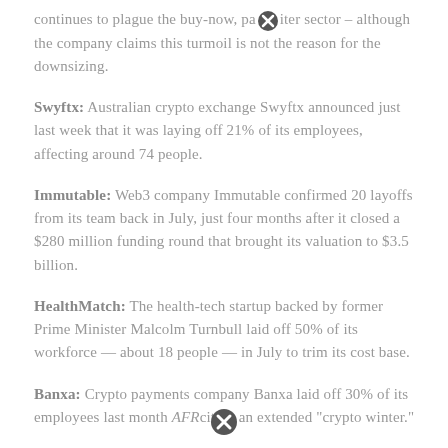continues to plague the buy-now, pay-later sector – although the company claims this turmoil is not the reason for the downsizing.
Swyftx: Australian crypto exchange Swyftx announced just last week that it was laying off 21% of its employees, affecting around 74 people.
Immutable: Web3 company Immutable confirmed 20 layoffs from its team back in July, just four months after it closed a $280 million funding round that brought its valuation to $3.5 billion.
HealthMatch: The health-tech startup backed by former Prime Minister Malcolm Turnbull laid off 50% of its workforce — about 18 people — in July to trim its cost base.
Banxa: Crypto payments company Banxa laid off 30% of its employees last month AFR citing an extended 'crypto winter.'
This list is incomplete.